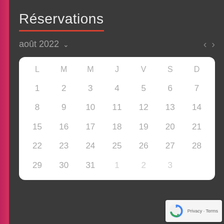Réservations
août 2022
| L | M | M | J | V | S | D |
| --- | --- | --- | --- | --- | --- | --- |
| 1 | 2 | 3 | 4 | 5 | 6 | 7 |
| 8 | 9 | 10 | 11 | 12 | 13 | 14 |
| 15 | 16 | 17 | 18 | 19 | 20 | 21 |
| 22 | 23 | 24 | 25 | 26 | 27 | 28 |
| 29 | 30 | 31 | 1 | 2 | 3 |  |